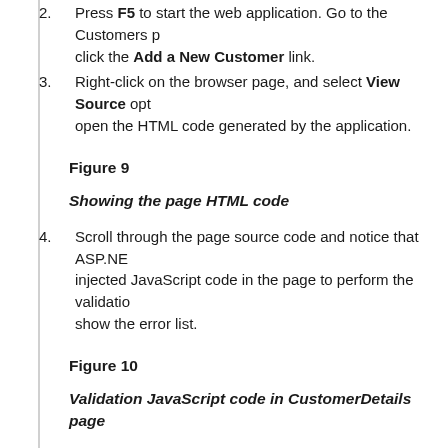2. Press F5 to start the web application. Go to the Customers p… click the Add a New Customer link.
3. Right-click on the browser page, and select View Source opt… open the HTML code generated by the application.
Figure 9
Showing the page HTML code
4. Scroll through the page source code and notice that ASP.NET injected JavaScript code in the page to perform the validation… show the error list.
Figure 10
Validation JavaScript code in CustomerDetails page
5. Press F12 to open the developer tools.
6. Select the Script tab and expand the "CustomerDetails.aspx" see all the referenced scripts.
Notice that there are no references to the jQuery library. The validations are performed using the Microsoft Ajax Libraries …